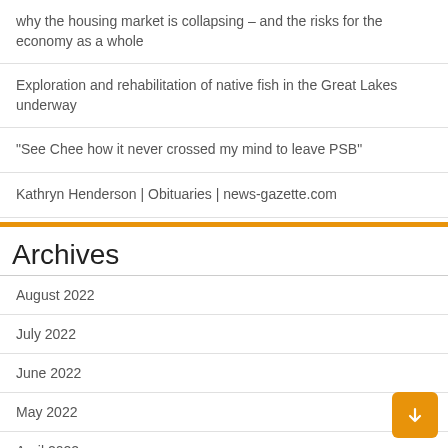why the housing market is collapsing – and the risks for the economy as a whole
Exploration and rehabilitation of native fish in the Great Lakes underway
“See Chee how it never crossed my mind to leave PSB”
Kathryn Henderson | Obituaries | news-gazette.com
Archives
August 2022
July 2022
June 2022
May 2022
April 2022
March 2022